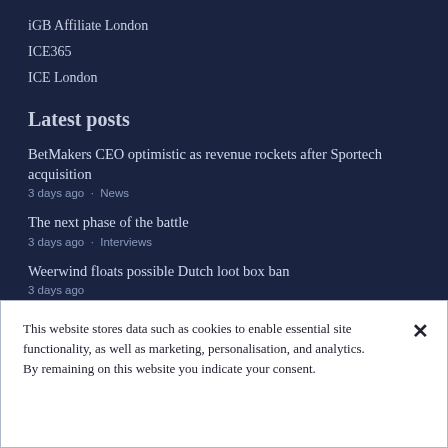iGB Affiliate London
ICE365
ICE London
Latest posts
BetMakers CEO optimistic as revenue rockets after Sportech acquisition
3 days ago · News
The next phase of the battle
3 days ago · Interviews
Weerwind floats possible Dutch loot box ban
3 days ago
This website stores data such as cookies to enable essential site functionality, as well as marketing, personalisation, and analytics. By remaining on this website you indicate your consent.